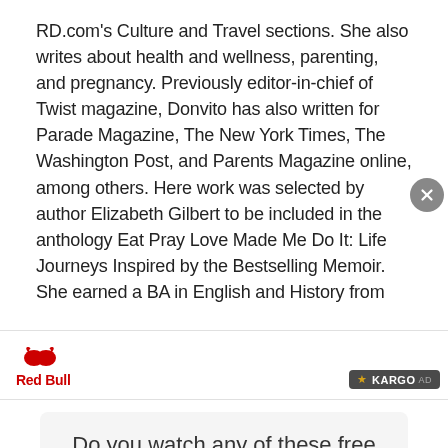RD.com's Culture and Travel sections. She also writes about health and wellness, parenting, and pregnancy. Previously editor-in-chief of Twist magazine, Donvito has also written for Parade Magazine, The New York Times, The Washington Post, and Parents Magazine online, among others. Here work was selected by author Elizabeth Gilbert to be included in the anthology Eat Pray Love Made Me Do It: Life Journeys Inspired by the Bestselling Memoir. She earned a BA in English and History from
[Figure (other): Red Bull advertisement banner with Red Bull logo on the left and Kargo AD badge on the lower right]
Do you watch any of these free video channels on your smart TV (Samsung